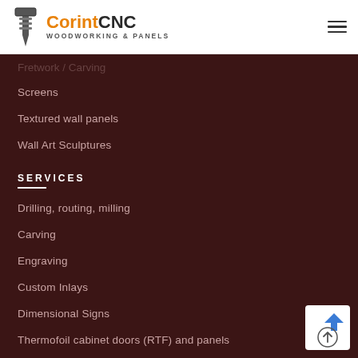CorintCNC WOODWORKING & PANELS
Fretwork / Carving (partially visible)
Screens
Textured wall panels
Wall Art Sculptures
SERVICES
Drilling, routing, milling
Carving
Engraving
Custom Inlays
Dimensional Signs
Thermofoil cabinet doors (RTF) and panels
PAGES